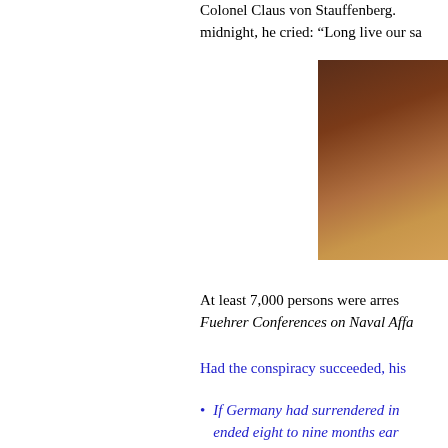Colonel Claus von Stauffenberg. midnight, he cried: “Long live our sa
[Figure (photo): Historical portrait photograph of a military officer, brown/sepia toned background]
At least 7,000 persons were arres Fuehrer Conferences on Naval Affa
Had the conspiracy succeeded, his
If Germany had surrendered in ended eight to nine months ear